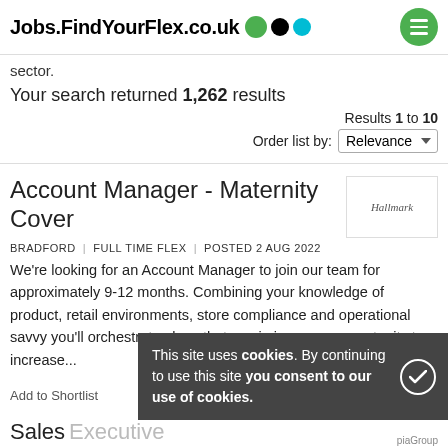Jobs.FindYourFlex.co.uk
sector.
Your search returned 1,262 results
Results 1 to 10
Order list by: Relevance
Account Manager - Maternity Cover
BRADFORD | FULL TIME FLEX | POSTED 2 AUG 2022
We're looking for an Account Manager to join our team for approximately 9-12 months. Combining your knowledge of product, retail environments, store compliance and operational savvy you'll orchestrate plans that maximise every opportunity to increase...
Add to Shortlist
VIEW AND APPLY
This site uses cookies. By continuing to use this site you consent to our use of cookies.
Sales Executive